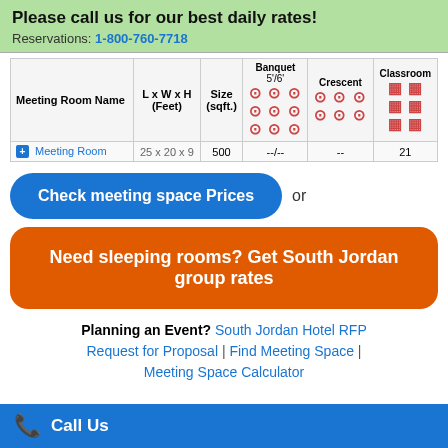Please call us for our best daily rates!
Reservations: 1-800-760-7718
| Meeting Room Name | L x W x H (Feet) | Size (sqft.) | Banquet 5/6' | Crescent | Classroom |
| --- | --- | --- | --- | --- | --- |
| Meeting Room | 25 x 20 x 9 | 500 | --/-- | -- | 21 |
Check meeting space Prices
or
Need sleeping rooms? Get South Jordan group rates
Planning an Event? South Jordan Hotel RFP Request for Proposal | Find Meeting Space | Meeting Space Calculator
Call Us